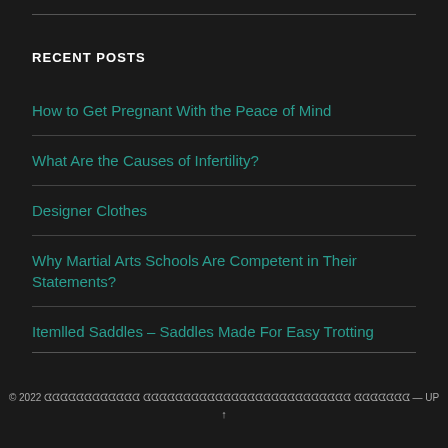RECENT POSTS
How to Get Pregnant With the Peace of Mind
What Are the Causes of Infertility?
Designer Clothes
Why Martial Arts Schools Are Competent in Their Statements?
Itemlled Saddles – Saddles Made For Easy Trotting
© 2022 [encoded text] — UP ↑